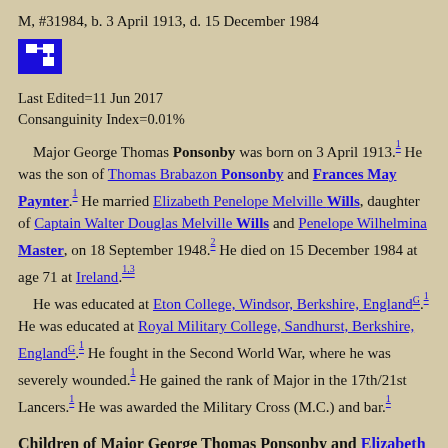M, #31984, b. 3 April 1913, d. 15 December 1984
[Figure (other): Blue icon button with family tree / relationship diagram symbol]
Last Edited=11 Jun 2017
Consanguinity Index=0.01%
Major George Thomas Ponsonby was born on 3 April 1913.[1] He was the son of Thomas Brabazon Ponsonby and Frances May Paynter.[1] He married Elizabeth Penelope Melville Wills, daughter of Captain Walter Douglas Melville Wills and Penelope Wilhelmina Master, on 18 September 1948.[2] He died on 15 December 1984 at age 71 at Ireland.[1,3] He was educated at Eton College, Windsor, Berkshire, England[G].[1] He was educated at Royal Military College, Sandhurst, Berkshire, England[G].[1] He fought in the Second World War, where he was severely wounded.[1] He gained the rank of Major in the 17th/21st Lancers.[1] He was awarded the Military Cross (M.C.) and bar.[1]
Children of Major George Thomas Ponsonby and Elizabeth Penelope Melville Wills
1. Thomas Charles George Ponsonby+ b. 23 Aug